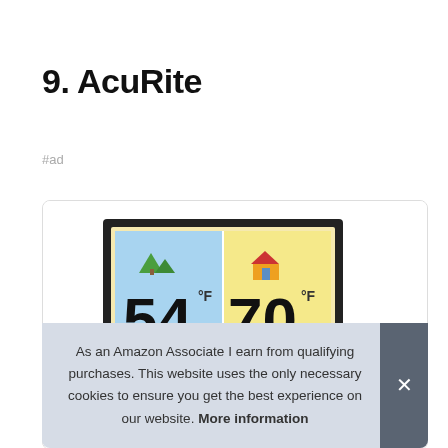9. AcuRite
#ad
[Figure (photo): AcuRite digital thermometer display showing outdoor temperature 54.6°F and indoor temperature 70.2°F with colored LCD screen in a black frame]
As an Amazon Associate I earn from qualifying purchases. This website uses the only necessary cookies to ensure you get the best experience on our website. More information